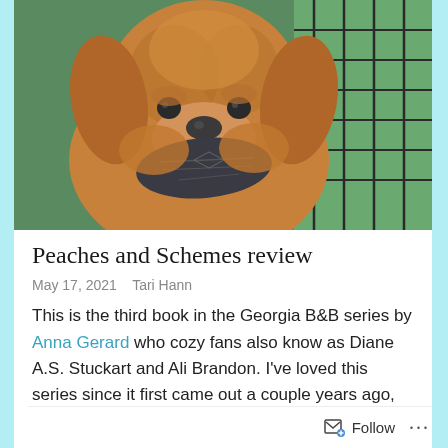[Figure (photo): A golden/reddish fluffy puppy (doodle breed) holding a dark shoe or object in its mouth, looking at the camera. In the background is a metal wire fence/crate and green turf.]
Peaches and Schemes review
May 17, 2021    Tari Hann
This is the third book in the Georgia B&B series by Anna Gerard who cozy fans also know as Diane A.S. Stuckart and Ali Brandon. I've loved this series since it first came out a couple years ago, and it just keeps getting better. Nina and her housemate Harry have grown a lot in how they treat one